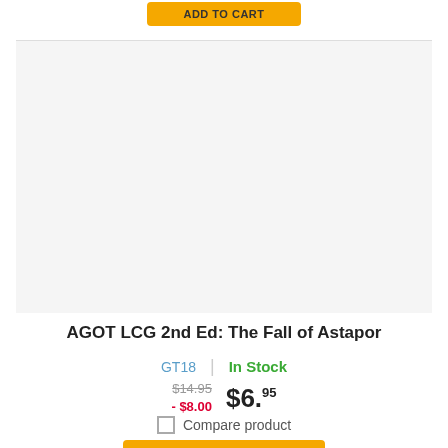[Figure (other): Partial yellow ADD TO CART button at top of page]
[Figure (photo): Product image area for AGOT LCG 2nd Ed: The Fall of Astapor board game]
AGOT LCG 2nd Ed: The Fall of Astapor
GT18  |  In Stock
$14.95  - $8.00  $6.95
Compare product
ADD TO CART